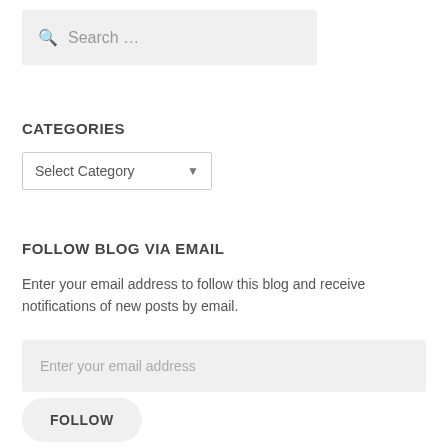[Figure (screenshot): Search input box with magnifying glass icon and placeholder text 'Search ...']
CATEGORIES
[Figure (screenshot): Dropdown select box with 'Select Category' option]
FOLLOW BLOG VIA EMAIL
Enter your email address to follow this blog and receive notifications of new posts by email.
[Figure (screenshot): Email address input field with placeholder 'Enter your email address']
[Figure (screenshot): Follow button with rounded corners labeled 'FOLLOW']